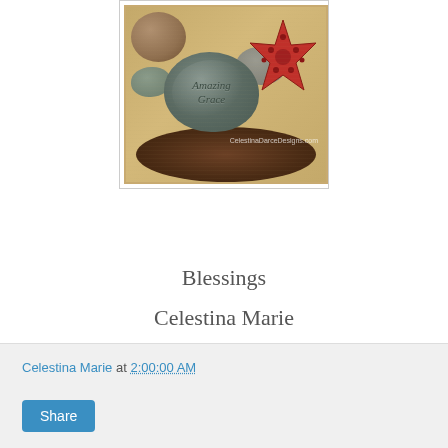[Figure (photo): Photo of stones and a red starfish in a bowl. Center stone engraved with 'Amazing Grace'. Watermark reads 'CelestinaDarceDesigns.com'. Photo has vintage/aged border styling.]
Blessings
Celestina Marie
Celestina Marie at 2:00:00 AM
Share